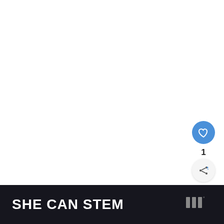[Figure (screenshot): White background area - main video/content area]
[Figure (infographic): Blue circular like/heart button with count of 1 and share button below]
[Figure (infographic): What's Next card showing thumbnail and text 'Best Joystick for Elite...']
SHE CAN STEM
[Figure (logo): Wired logo mark (three vertical bars with degree symbol) in grey]